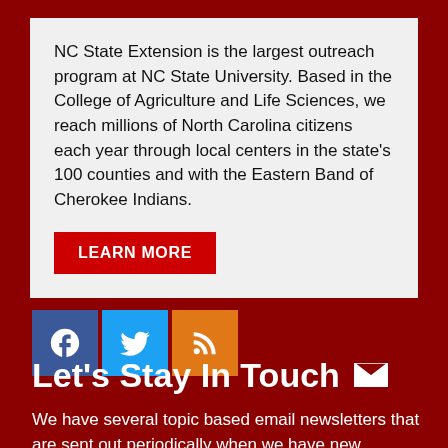NC State Extension is the largest outreach program at NC State University. Based in the College of Agriculture and Life Sciences, we reach millions of North Carolina citizens each year through local centers in the state's 100 counties and with the Eastern Band of Cherokee Indians.
LEARN MORE
[Figure (infographic): Social media icons: Facebook (blue), Twitter (light blue), RSS feed (orange)]
Let's Stay In Touch
We have several topic based email newsletters that are sent out periodically when we have new information to share. Want to see which lists are